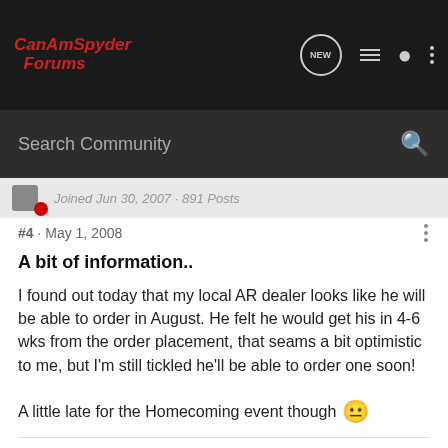CanAmSpyder Forums
Search Community
Joined Jun 30, 2007 · 891 Posts
#4 · May 1, 2008
A bit of information..
I found out today that my local AR dealer looks like he will be able to order in August. He felt he would get his in 4-6 wks from the order placement, that seams a bit optimistic to me, but I'm still tickled he'll be able to order one soon!
A little late for the Homecoming event though 🙁
"," would you drive anything else?